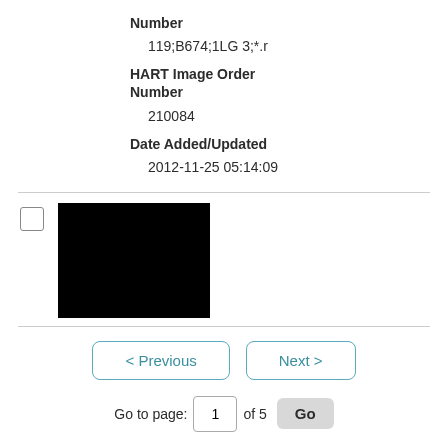Number
119;B674;1LG 3;*.r
HART Image Order Number
210084
Date Added/Updated
2012-11-25 05:14:09
[Figure (photo): Black rectangular image thumbnail]
< Previous   Next >
Go to page: 1 of 5 Go